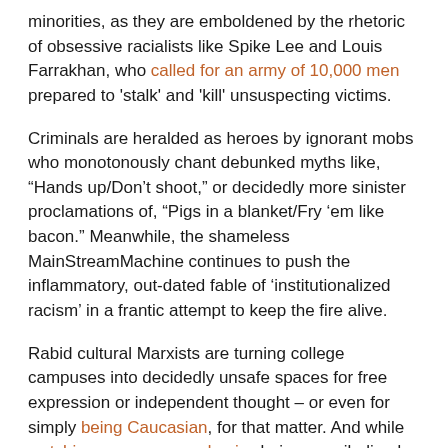minorities, as they are emboldened by the rhetoric of obsessive racialists like Spike Lee and Louis Farrakhan, who called for an army of 10,000 men prepared to 'stalk' and 'kill' unsuspecting victims.
Criminals are heralded as heroes by ignorant mobs who monotonously chant debunked myths like, “Hands up/Don’t shoot,” or decidedly more sinister proclamations of, “Pigs in a blanket/Fry ‘em like bacon.” Meanwhile, the shameless MainStreamMachine continues to push the inflammatory, out-dated fable of ‘institutionalized racism’ in a frantic attempt to keep the fire alive.
Rabid cultural Marxists are turning college campuses into decidedly unsafe spaces for free expression or independent thought – or even for simply being Caucasian, for that matter. And while watching pompous academics being cannibalized by their progeny is deliciously satisfying, it does not bode well for the future.
The boundaries of gender and sexuality have been pushed past